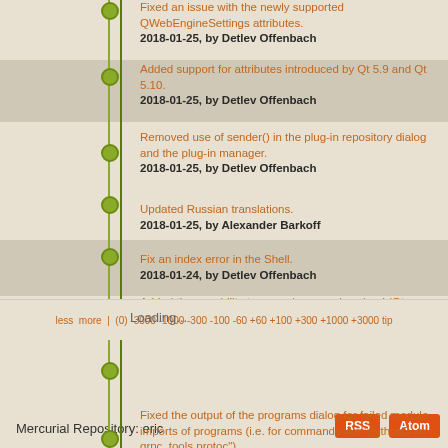Fixed an issue with the newly supported QWebEngineSettings attributes.
2018-01-25, by Detlev Offenbach
Added support for attributes introduced by Qt 5.9 and Qt 5.10.
2018-01-25, by Detlev Offenbach
Removed use of sender() in the plug-in repository dialog and the plug-in manager.
2018-01-25, by Detlev Offenbach
Updated Russian translations.
2018-01-25, by Alexander Barkoff
Fix an index error in the Shell.
2018-01-24, by Detlev Offenbach
Added the capability to pause/resume download (Qt 5.10.0/PyQt 5.10.0).
2018-01-24, by Detlev Offenbach
Added support for "HTML5 Desktop Video Capture" and "Desktop Audio and Video Capture" as of Qt 5.10.0/PyQt 5.10.0
2018-01-24, by Detlev Offenbach
Fixed the output of the programs dialog for failed module imports of programs (i.e. for commands like "python3 -m grpc_tools.protoc").
2018-01-23, by Detlev Offenbach
Loading...
less more | (0) -3000 -1000 -300 -100 -60 +60 +100 +300 +1000 +3000 tip
Mercurial Repository: eric
RSS   Atom